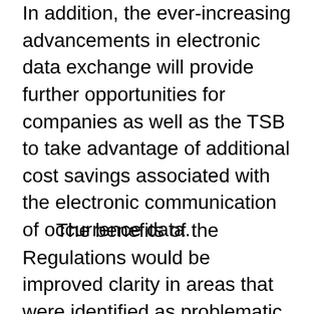In addition, the ever-increasing advancements in electronic data exchange will provide further opportunities for companies as well as the TSB to take advantage of additional cost savings associated with the electronic communication of occurrence data.
The benefits of the Regulations would be improved clarity in areas that were identified as problematic, in that they were open to various interpretations. The Regulations would also improve the administrative aspects of occurrence data collection due to the streamlining of